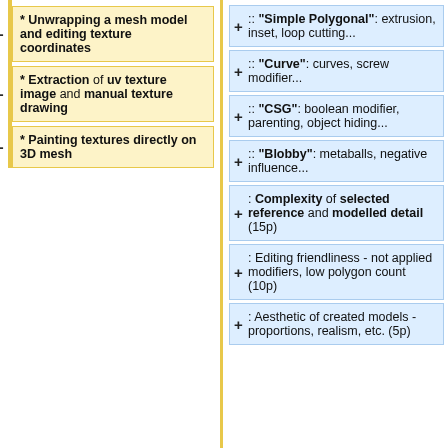* Unwrapping a mesh model and editing texture coordinates
* Extraction of uv texture image and manual texture drawing
* Painting textures directly on 3D mesh
:: "Simple Polygonal": extrusion, inset, loop cutting...
:: "Curve": curves, screw modifier...
:: "CSG": boolean modifier, parenting, object hiding...
:: "Blobby": metaballs, negative influence...
: Complexity of selected reference and modelled detail (15p)
: Editing friendliness - not applied modifiers, low polygon count (10p)
: Aesthetic of created models - proportions, realism, etc. (5p)